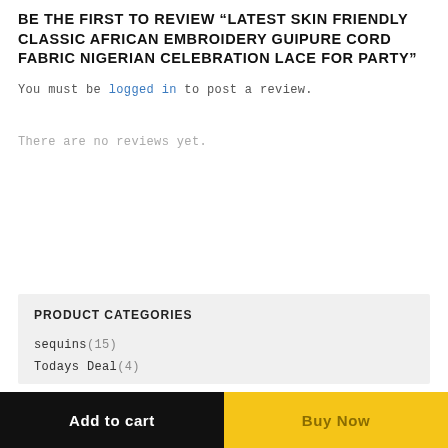BE THE FIRST TO REVIEW "LATEST SKIN FRIENDLY CLASSIC AFRICAN EMBROIDERY GUIPURE CORD FABRIC NIGERIAN CELEBRATION LACE FOR PARTY"
You must be logged in to post a review.
There are no reviews yet.
PRODUCT CATEGORIES
sequins(15)
Todays Deal(4)
Add to cart
Buy Now